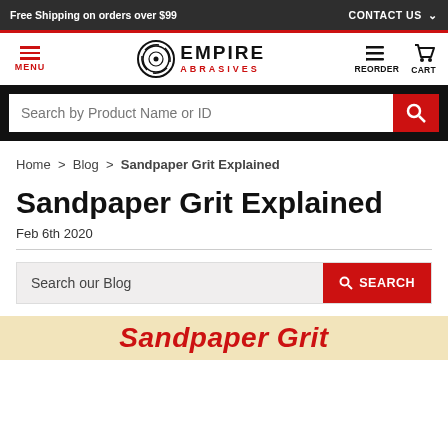Free Shipping on orders over $99 | CONTACT US
[Figure (logo): Empire Abrasives logo with circular abrasive disc icon, EMPIRE text and ABRASIVES subtitle in red]
[Figure (screenshot): Search bar: Search by Product Name or ID with red search button]
Home > Blog > Sandpaper Grit Explained
Sandpaper Grit Explained
Feb 6th 2020
[Figure (screenshot): Blog search box with red SEARCH button]
[Figure (illustration): Article preview banner with red italic text: Sandpaper Grit (partially visible)]